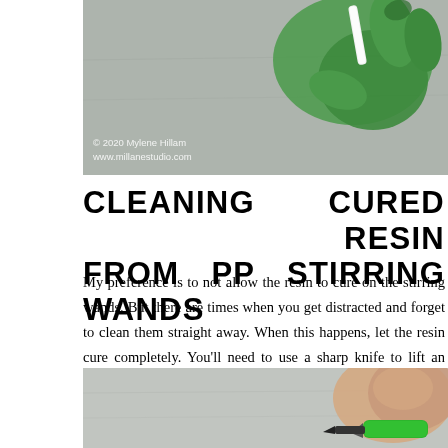[Figure (photo): Green gloved hand holding a white stirring wand over a gray surface, with copyright watermark '© 2020 Mylene Hillam www.millanestudio.com']
CLEANING CURED RESIN FROM PP STIRRING WANDS
My preference is to not allow the resin to cure on the stirring wands. But there are times when you get distracted and forget to clean them straight away. When this happens, let the resin cure completely. You'll need to use a sharp knife to lift an edge so you can peel the resin away.
[Figure (photo): Close-up of a finger using a green-handled sharp knife/blade on a gray surface to lift cured resin]